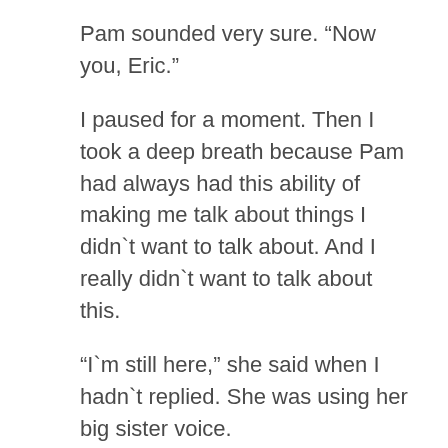Pam sounded very sure. “Now you, Eric.”
I paused for a moment. Then I took a deep breath because Pam had always had this ability of making me talk about things I didn’t want to talk about. And I really didn’t want to talk about this.
“I’m still here,” she said when I hadn’t replied. She was using her big sister voice.
“I know, Pam. And I wish I had your confidence,” I admitted. “Sookie never told me about the trial.” I sat down.